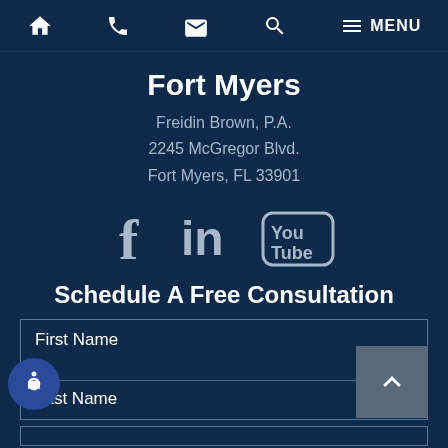Navigation bar with home, phone, email, search, and menu icons
Fort Myers
Freidin Brown, P.A.
2245 McGregor Blvd.
Fort Myers, FL 33901
[Figure (illustration): Social media icons: Facebook, LinkedIn, YouTube]
Schedule A Free Consultation
First Name
Last Name